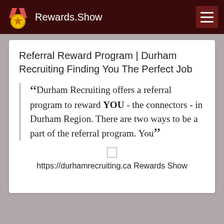Rewards.Show
Referral Reward Program | Durham Recruiting Finding You The Perfect Job
“Durham Recruiting offers a referral program to reward YOU - the connectors - in Durham Region. There are two ways to be a part of the referral program. You”
https://durhamrecruiting.ca Rewards Show